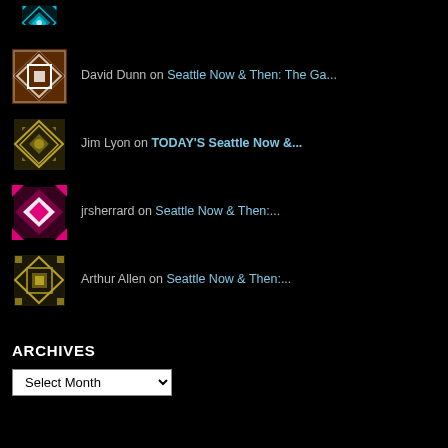[Figure (illustration): Cyan/blue geometric quilt pattern avatar (partial, top of page)]
David Dunn on Seattle Now & Then: The Ga...
Jim Lyon on TODAY'S Seattle Now &...
jrsherrard on Seattle Now & Then:...
Arthur Allen on Seattle Now & Then:...
ARCHIVES
Select Month (dropdown)
CATEGORIES